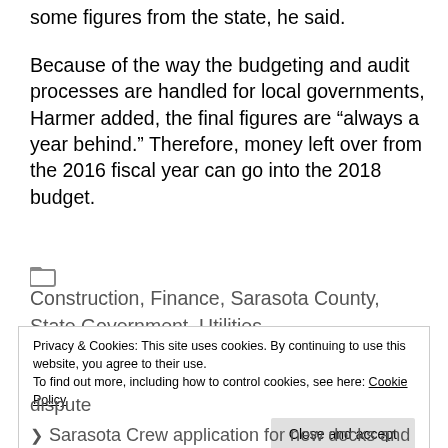some figures from the state, he said.
Because of the way the budgeting and audit processes are handled for local governments, Harmer added, the final figures are “always a year behind.” Therefore, money left over from the 2016 fiscal year can go into the 2018 budget.
Construction, Finance, Sarasota County, State Government, Utilities
Privacy & Cookies: This site uses cookies. By continuing to use this website, you agree to their use.
To find out more, including how to control cookies, see here: Cookie Policy
dispute
Sarasota Crew application for new docks and